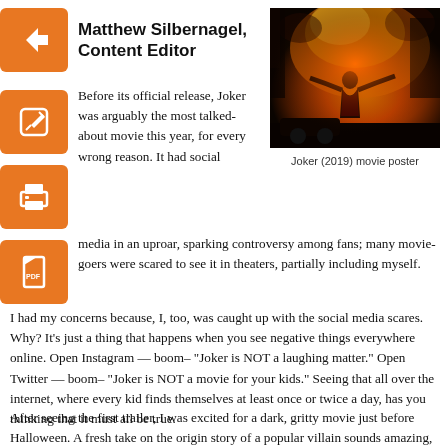Matthew Silbernagel, Content Editor
[Figure (photo): Joker (2019) movie poster image showing a figure in a red costume against a background of fire and dramatic lighting]
Joker (2019) movie poster
Before its official release, Joker was arguably the most talked-about movie this year, for every wrong reason. It had social media in an uproar, sparking controversy among fans; many movie-goers were scared to see it in theaters, partially including myself.
I had my concerns because, I, too, was caught up with the social media scares. Why? It’s just a thing that happens when you see negative things everywhere online. Open Instagram — boom– “Joker is NOT a laughing matter.” Open Twitter — boom– “Joker is NOT a movie for your kids.” Seeing that all over the internet, where every kid finds themselves at least once or twice a day, has you thinking that it must all be true.
After seeing the first trailer, I was excited for a dark, gritty movie just before Halloween. A fresh take on the origin story of a popular villain sounds amazing, especially since the upcoming year is filled with fewer super “hero” movies than